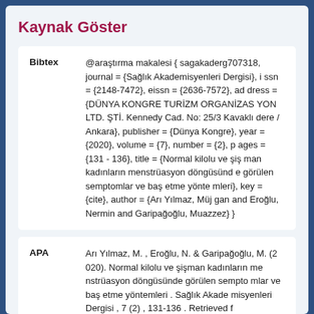Kaynak Göster
| Format | Citation |
| --- | --- |
| Bibtex | @araştırma makalesi { sagakaderg707318, journal = {Sağlık Akademisyenleri Dergisi}, issn = {2148-7472}, eissn = {2636-7572}, address = {DÜNYA KONGRE TURİZM ORGANİZASYON LTD. ŞTİ. Kennedy Cad. No: 25/3 Kavaklıdere / Ankara}, publisher = {Dünya Kongre}, year = {2020}, volume = {7}, number = {2}, pages = {131 - 136}, title = {Normal kilolu ve şişman kadınların menstrüasyon döngüsünde görülen semptomlar ve baş etme yöntemleri}, key = {cite}, author = {Arı Yılmaz, Müjgan and Eroğlu, Nermin and Garipağoğlu, Muazzez} } |
| APA | Arı Yılmaz, M. , Eroğlu, N. & Garipağoğlu, M. (2020). Normal kilolu ve şişman kadınların menstrüasyon döngüsünde görülen semptomlar ve baş etme yöntemleri . Sağlık Akademisyenleri Dergisi , 7 (2) , 131-136 . Retrieved f… |